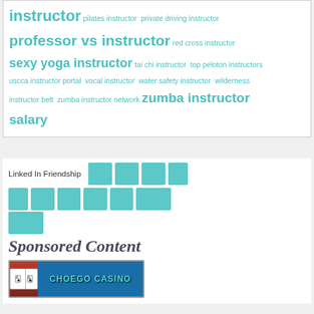instructor pilates instructor private driving instructor professor vs instructor red cross instructor sexy yoga instructor tai chi instructor top peloton instructors uscca instructor portal vocal instructor water safety instructor wilderness instructor belt zumba instructor network zumba instructor salary
Linked In Friendship [avatar icons]
Sponsored Content
[Figure (photo): Choego Casino banner advertisement with playing card icons and blue background]